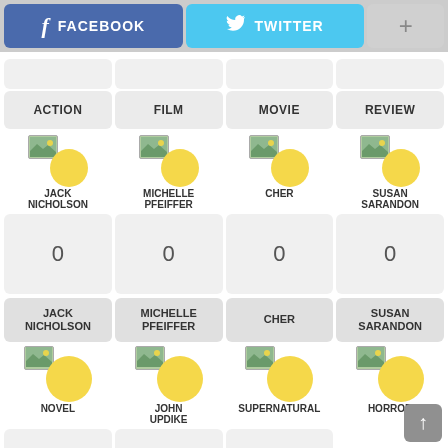[Figure (screenshot): Social sharing buttons: Facebook (blue), Twitter (light blue), and a plus button (gray)]
ACTION
FILM
MOVIE
REVIEW
[Figure (infographic): Actor/tag cards with avatar circles: JACK NICHOLSON, MICHELLE PFEIFFER, CHER, SUSAN SARANDON with yellow circle avatars and broken image icons]
0
0
0
0
JACK NICHOLSON
MICHELLE PFEIFFER
CHER
SUSAN SARANDON
[Figure (infographic): Bottom avatar cards: NOVEL, JOHN UPDIKE, SUPERNATURAL, HORROR with yellow circle avatars and broken image icons]